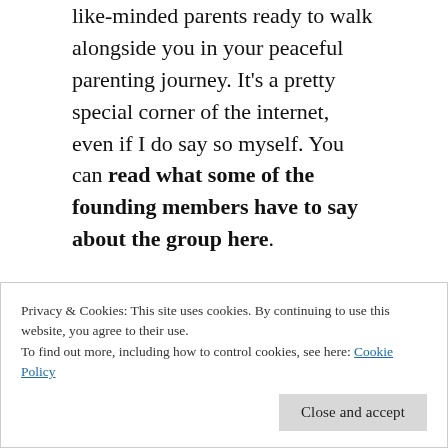like-minded parents ready to walk alongside you in your peaceful parenting journey. It's a pretty special corner of the internet, even if I do say so myself. You can read what some of the founding members have to say about the group here.
So far we have focused on calm communication, inner work and mindfulness for parents and building resilience and emotional awareness in our children.
socially aware / age-appropriate social justice
Privacy & Cookies: This site uses cookies. By continuing to use this website, you agree to their use.
To find out more, including how to control cookies, see here: Cookie Policy